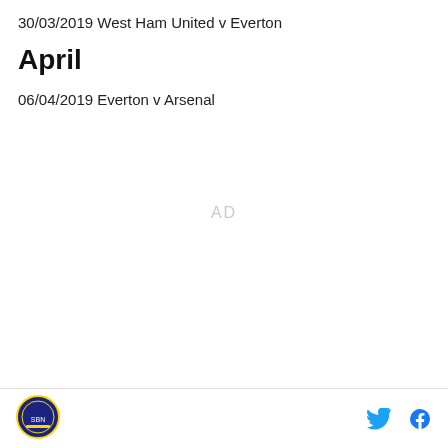30/03/2019 West Ham United v Everton
April
06/04/2019 Everton v Arsenal
[Figure (other): AD placeholder text centered in empty content area]
Footer with site logo on left and Twitter and Facebook icons on right